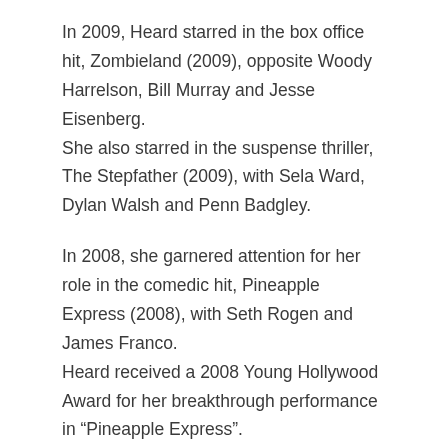In 2009, Heard starred in the box office hit, Zombieland (2009), opposite Woody Harrelson, Bill Murray and Jesse Eisenberg.
She also starred in the suspense thriller, The Stepfather (2009), with Sela Ward, Dylan Walsh and Penn Badgley.
In 2008, she garnered attention for her role in the comedic hit, Pineapple Express (2008), with Seth Rogen and James Franco.
Heard received a 2008 Young Hollywood Award for her breakthrough performance in “Pineapple Express”.
Pirates of the Caribbean